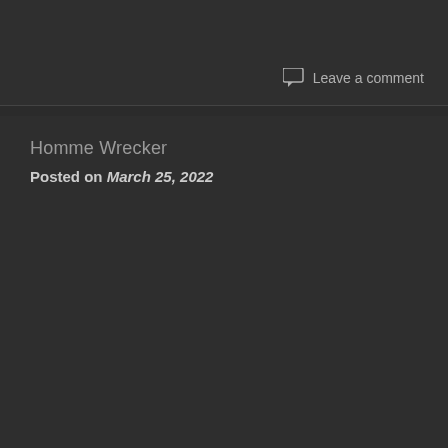Leave a comment
Homme Wrecker
Posted on March 25, 2022